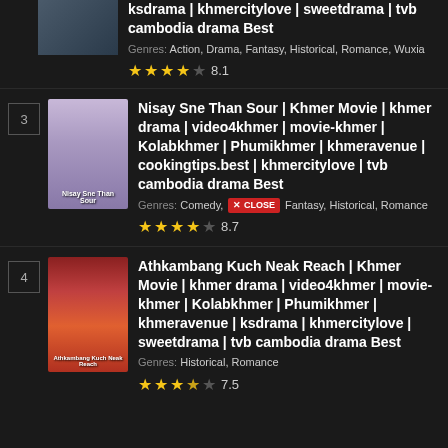ksdrama | khmercitylove | sweetdrama | tvb cambodia drama Best
Genres: Action, Drama, Fantasy, Historical, Romance, Wuxia
8.1
Nisay Sne Than Sour | Khmer Movie | khmer drama | video4khmer | movie-khmer | Kolabkhmer | Phumikhmer | khmeravenue | cookingtips.best | khmercitylove | tvb cambodia drama Best
Genres: Comedy, Drama, Fantasy, Historical, Romance
8.7
Athkambang Kuch Neak Reach | Khmer Movie | khmer drama | video4khmer | movie-khmer | Kolabkhmer | Phumikhmer | khmeravenue | ksdrama | khmercitylove | sweetdrama | tvb cambodia drama Best
Genres: Historical, Romance
7.5